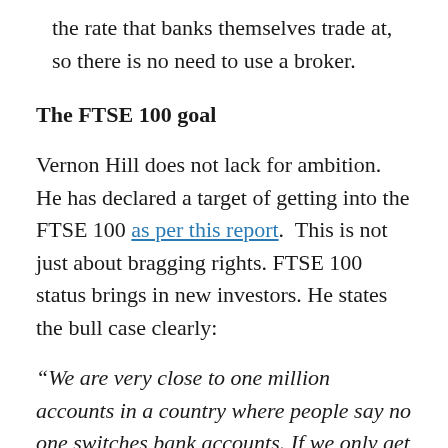the rate that banks themselves trade at, so there is no need to use a broker.
The FTSE 100 goal
Vernon Hill does not lack for ambition. He has declared a target of getting into the FTSE 100 as per this report. This is not just about bragging rights. FTSE 100 status brings in new investors. He states the bull case clearly:
“We are very close to one million accounts in a country where people say no one switches bank accounts. If we only get 5 per cent of the British